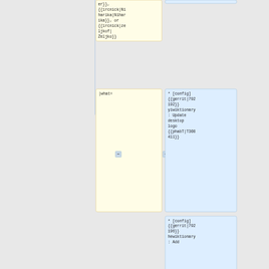er}},
{{ircnick|Niharika|Niharika}}, or {{ircnick|zeljkof|Željko}}
|what=
* [config] {{gerrit|792192}} yiwiktionary: Update desktop logo {{phabT|T308411}}
* [config] {{gerrit|792196}} hewiktionary: Add